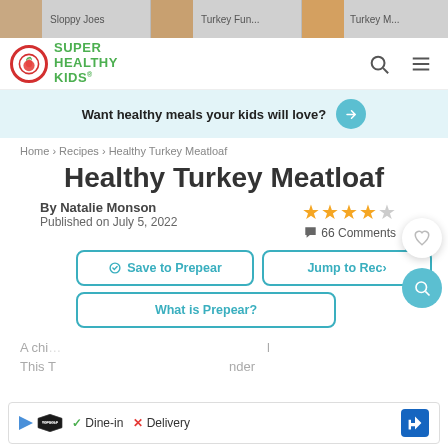Sloppy Joes | Turkey Fun... | Turkey M...
[Figure (logo): Super Healthy Kids logo with search and menu icons]
Want healthy meals your kids will love?
Home > Recipes > Healthy Turkey Meatloaf
Healthy Turkey Meatloaf
By Natalie Monson
Published on July 5, 2022
★★★★☆ 66 Comments
Save to Prepear | Jump to Recipe (1,004)
What is Prepear?
A chi... This T...
Dine-in ✓  Delivery ✗ (TopGolf ad)